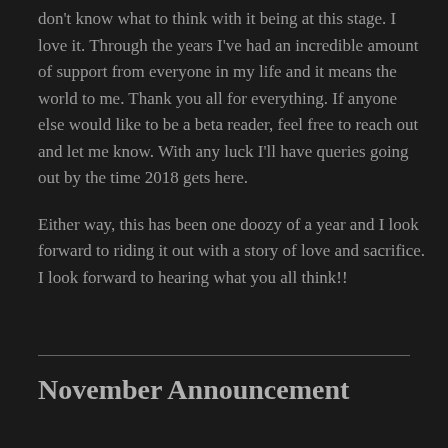don't know what to think with it being at this stage. I love it. Through the years I've had an incredible amount of support from everyone in my life and it means the world to me. Thank you all for everything. If anyone else would like to be a beta reader, feel free to reach out and let me know. With any luck I'll have queries going out by the time 2018 gets here.
Either way, this has been one doozy of a year and I look forward to riding it out with a story of love and sacrifice. I look forward to hearing what you all think!!
November Announcement